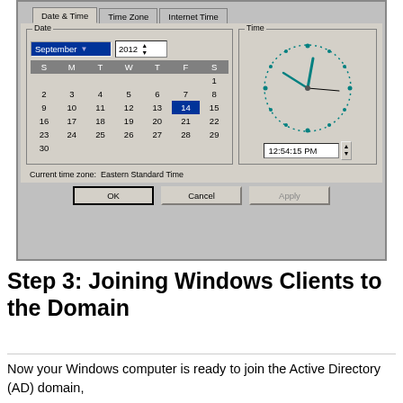[Figure (screenshot): Windows Date and Time Properties dialog box showing September 2012 calendar with day 14 selected, analog clock showing 12:54:15 PM, and Current time zone: Eastern Standard Time]
Step 3: Joining Windows Clients to the Domain
Now your Windows computer is ready to join the Active Directory (AD) domain,